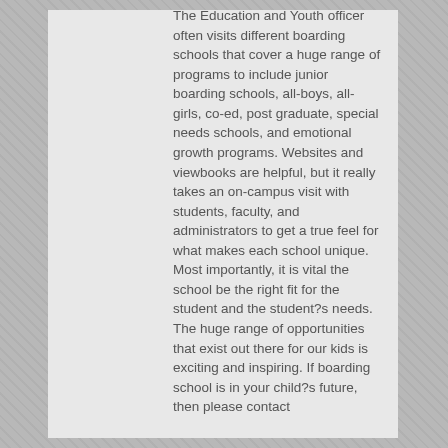The Education and Youth officer often visits different boarding schools that cover a huge range of programs to include junior boarding schools, all-boys, all-girls, co-ed, post graduate, special needs schools, and emotional growth programs. Websites and viewbooks are helpful, but it really takes an on-campus visit with students, faculty, and administrators to get a true feel for what makes each school unique. Most importantly, it is vital the school be the right fit for the student and the student?s needs. The huge range of opportunities that exist out there for our kids is exciting and inspiring. If boarding school is in your child?s future, then please contact